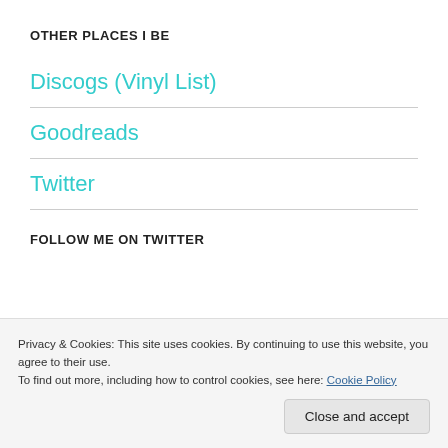OTHER PLACES I BE
Discogs (Vinyl List)
Goodreads
Twitter
FOLLOW ME ON TWITTER
Privacy & Cookies: This site uses cookies. By continuing to use this website, you agree to their use.
To find out more, including how to control cookies, see here: Cookie Policy
Close and accept